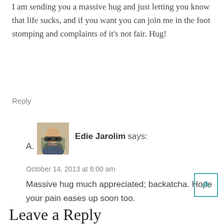I am sending you a massive hug and just letting you know that life sucks, and if you want you can join me in the foot stomping and complaints of it's not fair. Hug!
Reply
A. Edie Jarolim says:
October 14, 2013 at 6:00 am
Massive hug much appreciated; backatcha. Hope your pain eases up soon too.
Reply
Leave a Reply